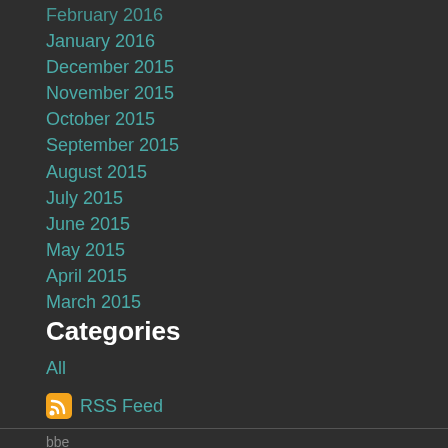February 2016
January 2016
December 2015
November 2015
October 2015
September 2015
August 2015
July 2015
June 2015
May 2015
April 2015
March 2015
Categories
All
RSS Feed
bbe